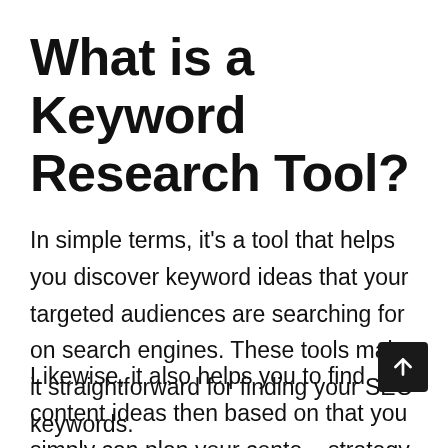What is a Keyword Research Tool?
In simple terms, it's a tool that helps you discover keyword ideas that your targeted audiences are searching for on search engines. These tools make it straightforward for finding your SEO keywords.
Likewise, it also helps you to find content ideas then based on that you simply can plan your content strategy. Also, you can use it for competitive